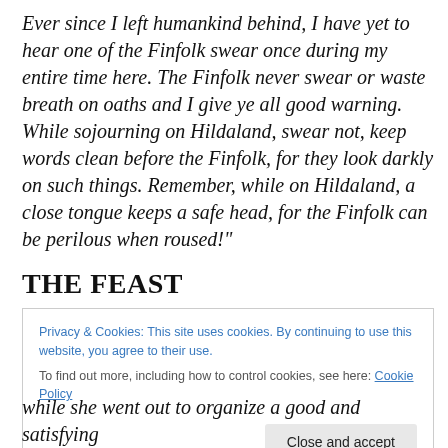Ever since I left humankind behind, I have yet to hear one of the Finfolk swear once during my entire time here. The Finfolk never swear or waste breath on oaths and I give ye all good warning. While sojourning on Hildaland, swear not, keep words clean before the Finfolk, for they look darkly on such things. Remember, while on Hildaland, a close tongue keeps a safe head, for the Finfolk can be perilous when roused!"
THE FEAST
Privacy & Cookies: This site uses cookies. By continuing to use this website, you agree to their use.
To find out more, including how to control cookies, see here: Cookie Policy
while she went out to organize a good and satisfying